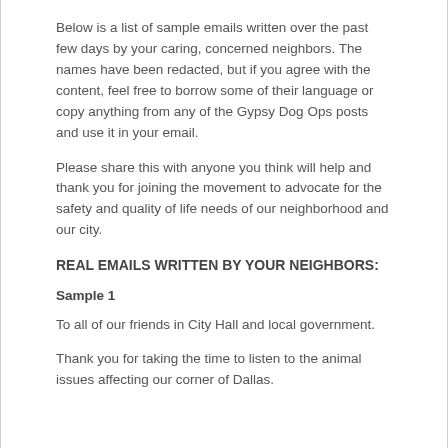Below is a list of sample emails written over the past few days by your caring, concerned neighbors. The names have been redacted, but if you agree with the content, feel free to borrow some of their language or copy anything from any of the Gypsy Dog Ops posts and use it in your email.
Please share this with anyone you think will help and thank you for joining the movement to advocate for the safety and quality of life needs of our neighborhood and our city.
REAL EMAILS WRITTEN BY YOUR NEIGHBORS:
Sample 1
To all of our friends in City Hall and local government.
Thank you for taking the time to listen to the animal issues affecting our corner of Dallas.